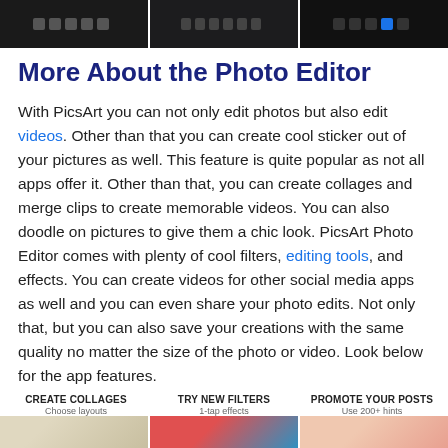[Figure (screenshot): Three screenshots of PicsArt app interface showing toolbars at the top of the page]
More About the Photo Editor
With PicsArt you can not only edit photos but also edit videos. Other than that you can create cool sticker out of your pictures as well. This feature is quite popular as not all apps offer it. Other than that, you can create collages and merge clips to create memorable videos. You can also doodle on pictures to give them a chic look. PicsArt Photo Editor comes with plenty of cool filters, editing tools, and effects. You can create videos for other social media apps as well and you can even share your photo edits. Not only that, but you can also save your creations with the same quality no matter the size of the photo or video. Look below for the app features.
CREATE COLLAGES
Choose layouts
TRY NEW FILTERS
1-tap effects
PROMOTE YOUR POSTS
Use 200+ hints
[Figure (screenshot): Three small app feature preview images at the bottom of the page]